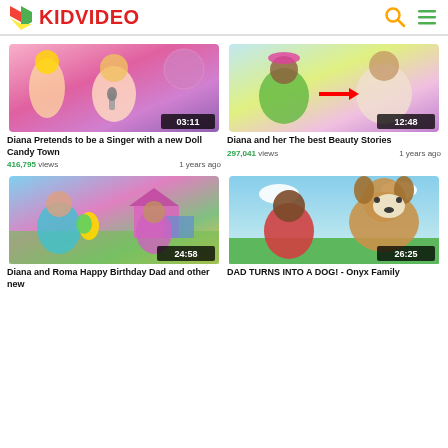KIDVIDEO
[Figure (screenshot): Video thumbnail: Diana Pretends to be a Singer with a new Doll Candy Town, duration 03:11]
Diana Pretends to be a Singer with a new Doll Candy Town
416,795 views   1 years ago
[Figure (screenshot): Video thumbnail: Diana and her The best Beauty Stories, duration 12:48]
Diana and her The best Beauty Stories
297,041 views   1 years ago
[Figure (screenshot): Video thumbnail: Diana and Roma Happy Birthday Dad and other new, duration 24:58]
Diana and Roma Happy Birthday Dad and other new
[Figure (screenshot): Video thumbnail: DAD TURNS INTO A DOG! - Onyx Family, duration 26:25]
DAD TURNS INTO A DOG! - Onyx Family